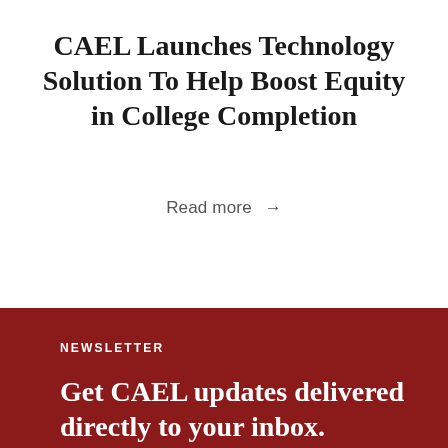CAEL Launches Technology Solution To Help Boost Equity in College Completion
Read more →
NEWSLETTER
Get CAEL updates delivered directly to your inbox.